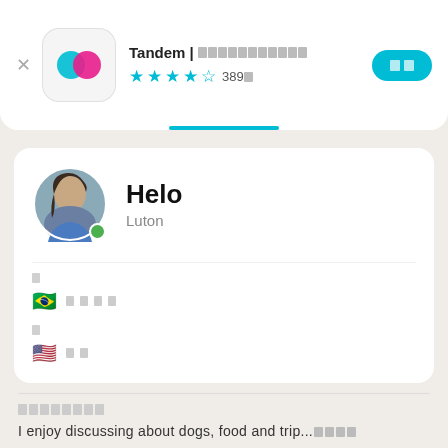[Figure (screenshot): Tandem app icon with teal and pink overlapping speech bubble shapes on white rounded square background]
Tandem | 󰀀󰀀󰀀󰀀󰀀󰀀󰀀󰀀󰀀󰀀󰀀
★★★★☆ 389󰀀
󰀀󰀀 (install button)
[Figure (photo): Profile photo of a young woman with dark hair, circular cropped with green online indicator dot]
Helo
Luton
󰀀 (native language label)
🇧🇷 󰀀󰀀󰀀󰀀
󰀀 (learning language label)
🇺🇸 󰀀󰀀
󰀀󰀀󰀀󰀀󰀀󰀀󰀀󰀀 (section header)
I enjoy discussing about dogs, food and trip...󰀀󰀀󰀀󰀀